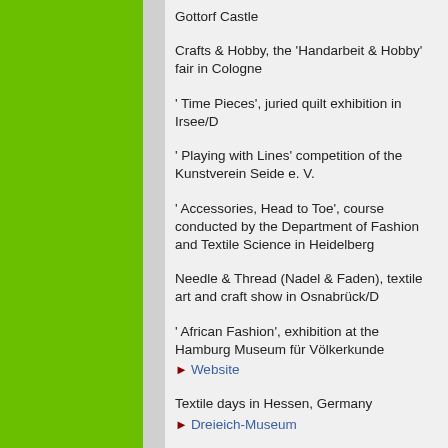Gottorf Castle
Crafts & Hobby, the 'Handarbeit & Hobby' fair in Cologne
' Time Pieces', juried quilt exhibition in Irsee/D
' Playing with Lines' competition of the Kunstverein Seide e. V.
' Accessories, Head to Toe', course conducted by the Department of Fashion and Textile Science in Heidelberg
Needle & Thread (Nadel & Faden), textile art and craft show in Osnabrück/D
' African Fashion', exhibition at the Hamburg Museum für Völkerkunde
Website
Textile days in Hessen, Germany
Dreieich-Museum
Tablet weaving, exhibition in Ellwangen/D
Alamannenmuseum
' Needlework XII', textile market in Michelstadt/D
Odenwald-Märkte